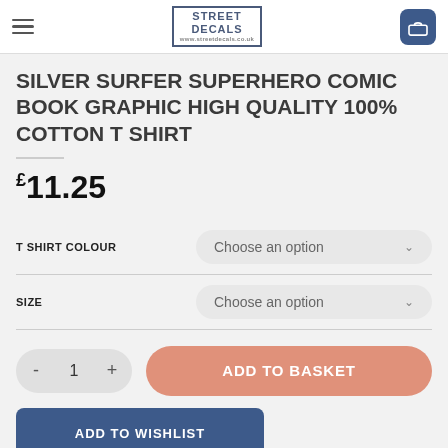Street Decals — navigation header with hamburger menu, logo, and cart icon
SILVER SURFER SUPERHERO COMIC BOOK GRAPHIC HIGH QUALITY 100% COTTON T SHIRT
£11.25
T SHIRT COLOUR — Choose an option
SIZE — Choose an option
- 1 + ADD TO BASKET
ADD TO WISHLIST